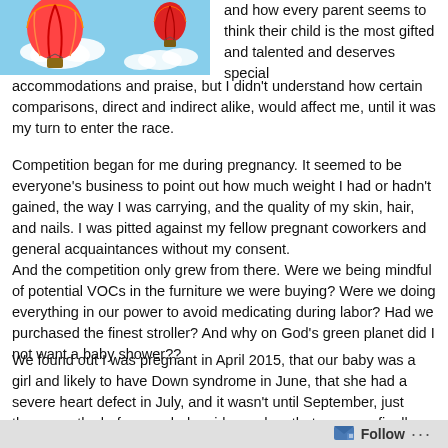[Figure (illustration): Hot air balloons floating among clouds on a blue sky background]
and how every parent seems to think their child is the most gifted and talented and deserves special accommodations and praise, but I didn't understand how certain comparisons, direct and indirect alike, would affect me, until it was my turn to enter the race.
Competition began for me during pregnancy. It seemed to be everyone's business to point out how much weight I had or hadn't gained, the way I was carrying, and the quality of my skin, hair, and nails. I was pitted against my fellow pregnant coworkers and general acquaintances without my consent.
And the competition only grew from there. Were we being mindful of potential VOCs in the furniture we were buying? Were we doing everything in our power to avoid medicating during labor? Had we purchased the finest stroller? And why on God's green planet did I not want a baby shower??
We found out I was pregnant in April 2015, that our baby was a girl and likely to have Down syndrome in June, that she had a severe heart defect in July, and it wasn't until September, just three months before our baby girl was due, that we were finally convinced we would meet her. A combination of wonderful doctors,
Follow ...